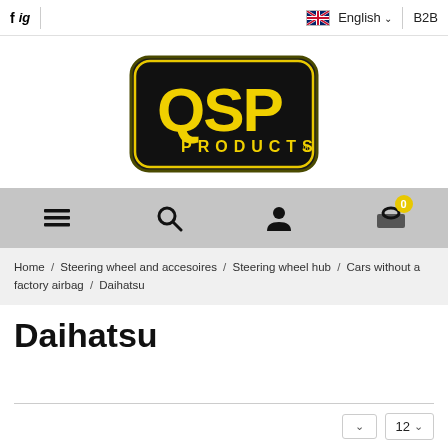f  ig  English  B2B
[Figure (logo): QSP Products logo — black rounded rectangle with yellow bold letters QSP and PRODUCTS below]
[Figure (infographic): Navigation bar with hamburger menu icon, search icon, user icon, and shopping cart icon with badge showing 0]
Home / Steering wheel and accesoires / Steering wheel hub / Cars without a factory airbag / Daihatsu
Daihatsu